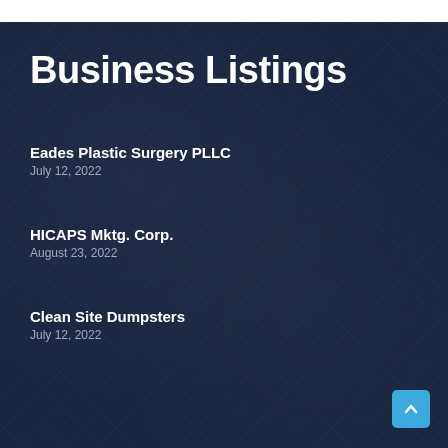Business Listings
Eades Plastic Surgery PLLC
July 12, 2022
HICAPS Mktg. Corp.
August 23, 2022
Clean Site Dumpsters
July 12, 2022